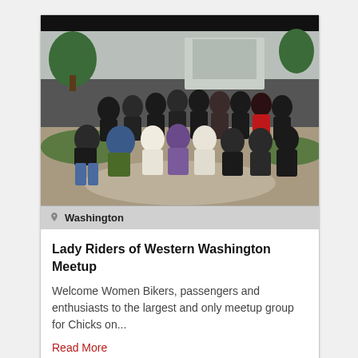[Figure (photo): Group photo of Lady Riders of Western Washington Meetup — a large group of women in motorcycle gear posing outdoors in front of a modern building with trees and greenery. Some standing, some kneeling in front. Black bar at top of image.]
Washington
Lady Riders of Western Washington Meetup
Welcome Women Bikers, passengers and enthusiasts to the largest and only meetup group for Chicks on...
Read More